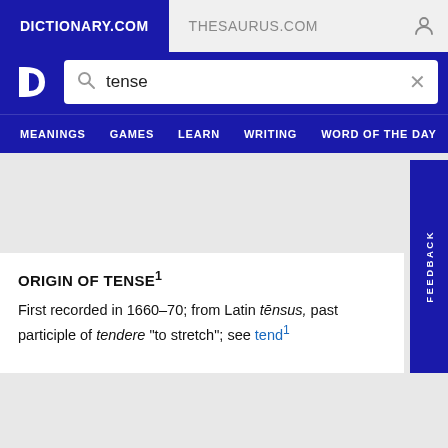DICTIONARY.COM | THESAURUS.COM
[Figure (screenshot): Dictionary.com website header with search bar containing the word 'tense', navigation menu with MEANINGS, GAMES, LEARN, WRITING, WORD OF THE DAY]
ORIGIN OF TENSE¹
First recorded in 1660–70; from Latin tēnsus, past participle of tendere "to stretch"; see tend¹